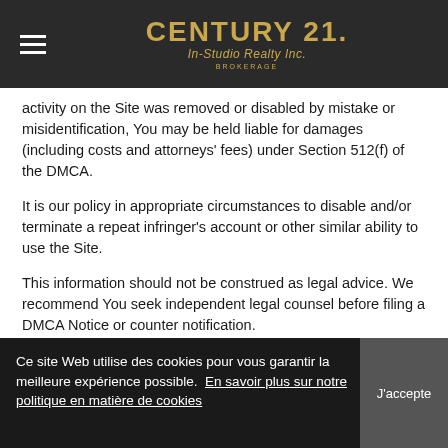CENTURY 21. In-Studio Realty Inc. BROKERAGE
activity on the Site was removed or disabled by mistake or misidentification, You may be held liable for damages (including costs and attorneys' fees) under Section 512(f) of the DMCA.
It is our policy in appropriate circumstances to disable and/or terminate a repeat infringer's account or other similar ability to use the Site.
This information should not be construed as legal advice. We recommend You seek independent legal counsel before filing a DMCA Notice or counter notification.
20. THIRD-PARTY
Ce site Web utilise des cookies pour vous garantir la meilleure expérience possible.  En savoir plus sur notre politique en matière de cookies
J'accepte